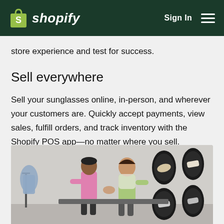shopify  Sign In
store experience and test for success.
Sell everywhere
Sell your sunglasses online, in-person, and wherever your customers are. Quickly accept payments, view sales, fulfill orders, and track inventory with the Shopify POS app—no matter where you sell.
[Figure (photo): Two people in a retail store shaking hands or exchanging items, with clothing on display and shoes mounted on oval wall displays in the background.]